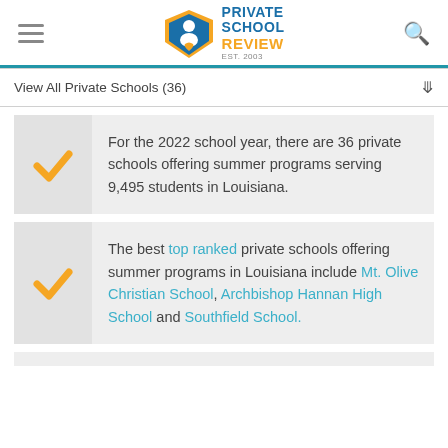PRIVATE SCHOOL REVIEW EST. 2003
View All Private Schools (36)
For the 2022 school year, there are 36 private schools offering summer programs serving 9,495 students in Louisiana.
The best top ranked private schools offering summer programs in Louisiana include Mt. Olive Christian School, Archbishop Hannan High School and Southfield School.